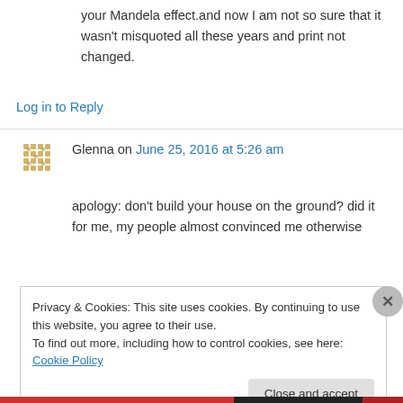your Mandela effect.and now I am not so sure that it wasn't misquoted all these years and print not changed.
Log in to Reply
Glenna on June 25, 2016 at 5:26 am
apology: don't build your house on the ground? did it for me, my people almost convinced me otherwise
Privacy & Cookies: This site uses cookies. By continuing to use this website, you agree to their use. To find out more, including how to control cookies, see here: Cookie Policy
Close and accept